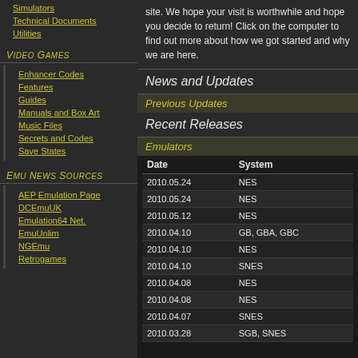Simulators
Technical Documents
Utilities
Video Games
Enhancer Codes
Features
Guides
Manuals and Box Art
Music Files
Secrets and Codes
Save States
Emu News Sources
AEP Emulation Page
DCEmuUK
Emulation64 Net.
EmuUnlim
NGEmu
Retrogames
site. We hope your visit is worthwhile and hope you decide to return! Click on the computer to find out more about how we got started and why we are here.
News and Updates
Previous Updates
Recent Releases
Emulators
| Date | System |
| --- | --- |
| 2010.05.24 | NES |
| 2010.05.24 | NES |
| 2010.05.12 | NES |
| 2010.04.10 | GB, GBA, GBC |
| 2010.04.10 | NES |
| 2010.04.10 | SNES |
| 2010.04.08 | NES |
| 2010.04.08 | NES |
| 2010.04.07 | SNES |
| 2010.03.28 | SGB, SNES |